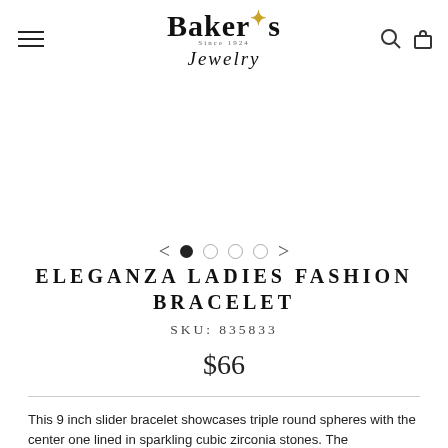Baker's Jewelry — navigation header
[Figure (other): Image carousel area with navigation arrows and pagination dots (1 filled, 3 empty)]
ELEGANZA LADIES FASHION BRACELET
SKU: 835833
$66
This 9 inch slider bracelet showcases triple round spheres with the center one lined in sparkling cubic zirconia stones. The